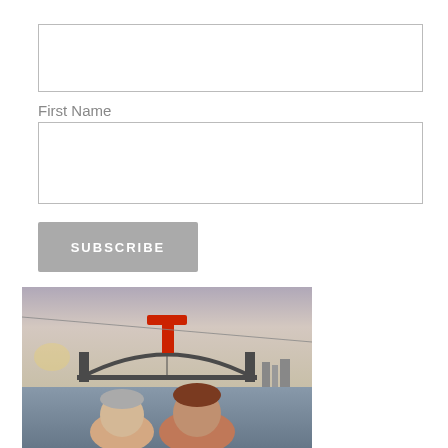[Figure (other): Empty input text box (form field, first name field above)]
First Name
[Figure (other): Empty input text box (form field)]
[Figure (other): Subscribe button — gray rounded button with text SUBSCRIBE]
[Figure (photo): A photograph of two people (selfie) on a cruise ship deck with the Sydney Harbour Bridge visible in the background at dusk/cloudy sky, and a red Carnival cruise ship funnel logo visible above.]